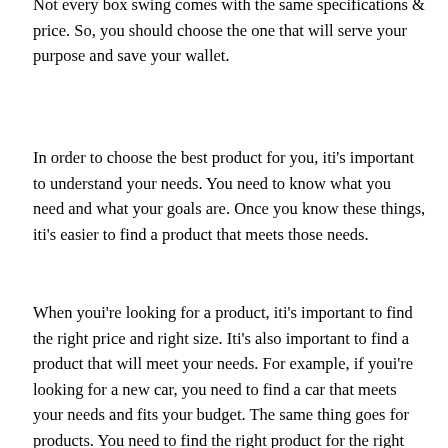Not every box swing comes with the same specifications & price. So, you should choose the one that will serve your purpose and save your wallet.
In order to choose the best product for you, iti's important to understand your needs. You need to know what you need and what your goals are. Once you know these things, iti's easier to find a product that meets those needs.
When youi're looking for a product, iti's important to find the right price and right size. Iti's also important to find a product that will meet your needs. For example, if youi're looking for a new car, you need to find a car that meets your needs and fits your budget. The same thing goes for products. You need to find the right product for the right price and the right size.
The third factor to examine is the price range within which you are willing to spend for the product. Are you willing to pay a little more than others, or more than is necessary? When it